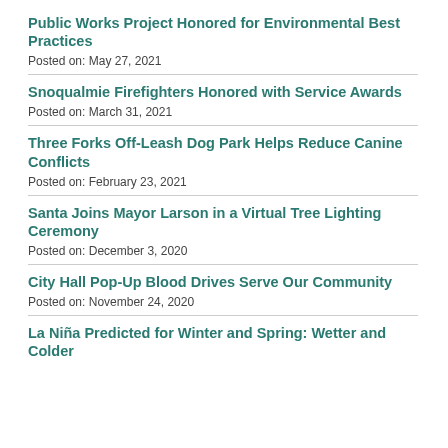Public Works Project Honored for Environmental Best Practices
Posted on: May 27, 2021
Snoqualmie Firefighters Honored with Service Awards
Posted on: March 31, 2021
Three Forks Off-Leash Dog Park Helps Reduce Canine Conflicts
Posted on: February 23, 2021
Santa Joins Mayor Larson in a Virtual Tree Lighting Ceremony
Posted on: December 3, 2020
City Hall Pop-Up Blood Drives Serve Our Community
Posted on: November 24, 2020
La Niña Predicted for Winter and Spring: Wetter and Colder